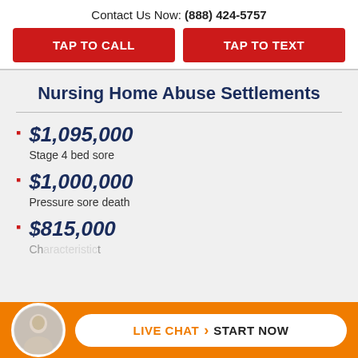Contact Us Now: (888) 424-5757
TAP TO CALL
TAP TO TEXT
Nursing Home Abuse Settlements
$1,095,000 — Stage 4 bed sore
$1,000,000 — Pressure sore death
$815,000